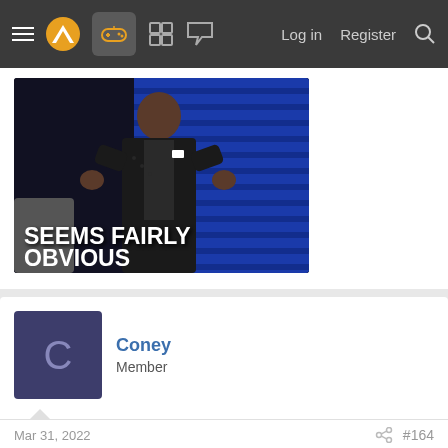≡ [logo] [gamepad] [grid] [chat] Log in  Register [search]
[Figure (screenshot): GIF/meme image of a man in a suit with text overlay reading SEEMS FAIRLY OBVIOUS on a blue background]
Coney
Member
Mar 31, 2022
#164
Swift_Star said: ↑
Pandemic is the period where these subscriptions made more sense though.
And Sony is not following third place, they're merging existent services, both existed way before GP existed.